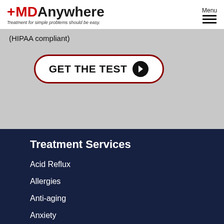+MDAnywhere — Treatment for simple problems should be easy. | Menu
(HIPAA compliant)
GET THE TEST →
Treatment Services
Acid Reflux
Allergies
Anti-aging
Anxiety